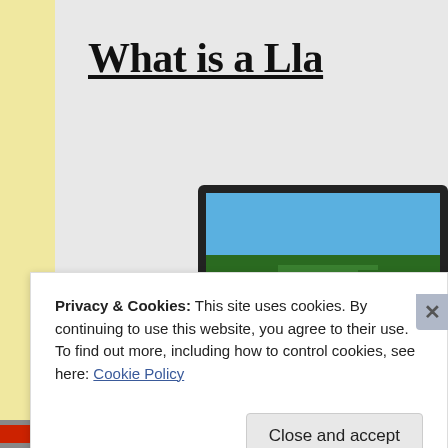[Figure (screenshot): A photograph of a printed document/book page showing the title 'What is a Lla' (truncated) with underline, and an embedded photo of a green outdoor landscape/trees scene below the title. Background shows a yellowish strip on the left and a grey camera/background area.]
Privacy & Cookies: This site uses cookies. By continuing to use this website, you agree to their use.
To find out more, including how to control cookies, see here: Cookie Policy